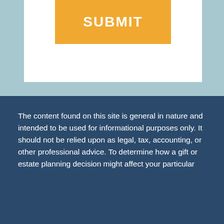[Figure (other): Orange/yellow SUBMIT button on white background within a light blue section]
The content found on this site is general in nature and intended to be used for informational purposes only. It should not be relied upon as legal, tax, accounting, or other professional advice. To determine how a gift or estate planning decision might affect your particular